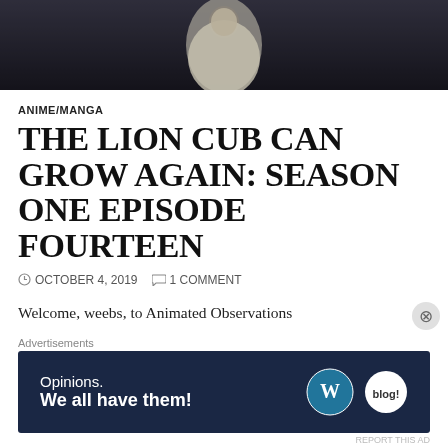[Figure (illustration): Dark anime-style hero image at the top of the article, showing a figure in a light-colored outfit against a dark background]
ANIME/MANGA
THE LION CUB CAN GROW AGAIN: SEASON ONE EPISODE FOURTEEN
OCTOBER 4, 2019   1 COMMENT
Welcome, weebs, to Animated Observations
If it feels like it has been a while since I have done one of these, it is because it has been. I explained in my last update post
[Figure (screenshot): Advertisement banner: dark navy background with text 'Opinions. We all have them!' and WordPress and Blog.com logos]